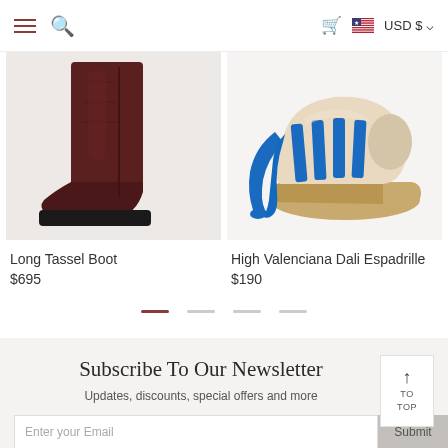Menu | Search | Cart | USD $
[Figure (photo): Dark brown leather tall boot with chunky black sole, shown on light grey background]
[Figure (photo): Blue and beige espadrille wedge sandal with blue ribbon laces and jute platform, shown on white background]
Long Tassel Boot
$695
High Valenciana Dali Espadrille
$190
Subscribe To Our Newsletter
Updates, discounts, special offers and more
Enter your Email
Submit